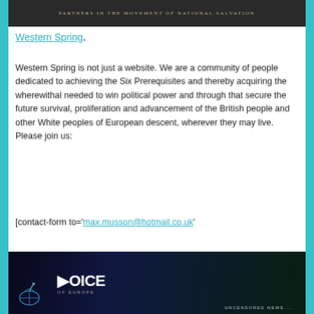[Figure (illustration): Dark banner with text 'PARTNERS IN THE MOVEMENT OF NATIONAL SALVATION' in gold/tan lettering on dark background]
Western Spring.
Western Spring is not just a website. We are a community of people dedicated to achieving the Six Prerequisites and thereby acquiring the wherewithal needed to win political power and through that secure the future survival, proliferation and advancement of the British people and other White peoples of European descent, wherever they may live. Please join us:
[contact-form to='max.musson@hotmail.co.uk'
[Figure (illustration): Voice of Europe banner showing a globe/map of Europe with city lights at night, satellite dish, text 'VOICE OF EUROPE' and 'UNCENSORED NEWS...']